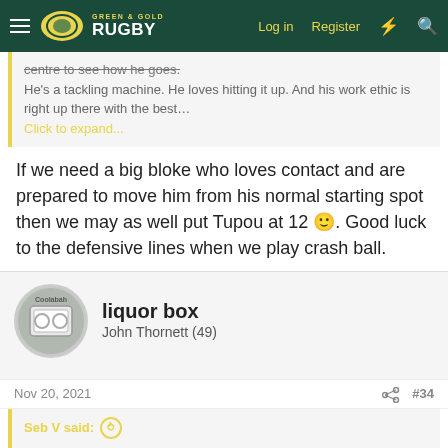Green & Gold Rugby — Log in  Register
centre to see how he goes.
He's a tackling machine. He loves hitting it up. And his work ethic is right up there with the best
Click to expand...
If we need a big bloke who loves contact and are prepared to move him from his normal starting spot then we may as well put Tupou at 12 🙂. Good luck to the defensive lines when we play crash ball.
liquor box
John Thornett (49)
Nov 20, 2021  #34
Seb V said: ↺
I still think Petaia's best position is 13. He is naturally a great defender in that channel and runs good lines. I don't like the idea of him at fullback. I feel like he will fall into being a utility. He is a great talent, and if he gets his body right I feel could truly be one of the great 13's,